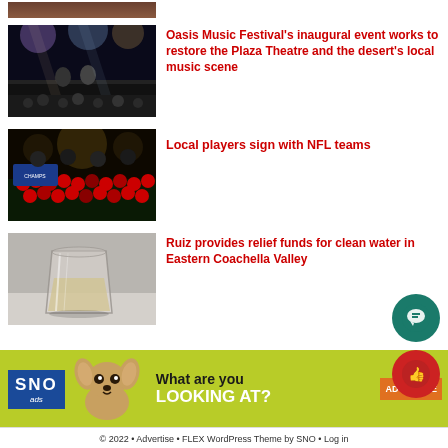[Figure (photo): Partial top image of people, cropped at top]
[Figure (photo): Concert stage photo with performers and lights]
Oasis Music Festival's inaugural event works to restore the Plaza Theatre and the desert's local music scene
[Figure (photo): Football team group celebration photo at night]
Local players sign with NFL teams
[Figure (photo): A plastic cup with yellowish water]
Ruiz provides relief funds for clean water in Eastern Coachella Valley
[Figure (advertisement): SNO ads banner with chihuahua dog: What are you LOOKING AT? ADVERTISE button]
© 2022 • Advertise • FLEX WordPress Theme by SNO • Log in